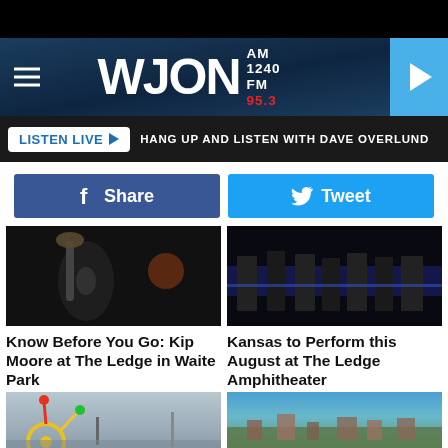[Figure (screenshot): WJON AM 1240 FM 95.3 radio station website header with logo, hamburger menu, play button, Listen Live bar with 'HANG UP AND LISTEN WITH DAVE OVERLUND' text, Facebook Share and Twitter Tweet buttons, and four article thumbnails with titles]
LISTEN LIVE ▶  HANG UP AND LISTEN WITH DAVE OVERLUND
f  Share
Tweet
[Figure (photo): Person playing guitar on stage in dark lighting — Kip Moore concert]
[Figure (photo): Band performing on stage with blue LED backdrop — Kansas band concert]
Know Before You Go: Kip Moore at The Ledge in Waite Park
Kansas to Perform this August at The Ledge Amphitheater
[Figure (photo): Outdoor playground equipment with yellow and red structures under cloudy sky]
[Figure (photo): Aerial view of a city with green trees, buildings, and blue sky]